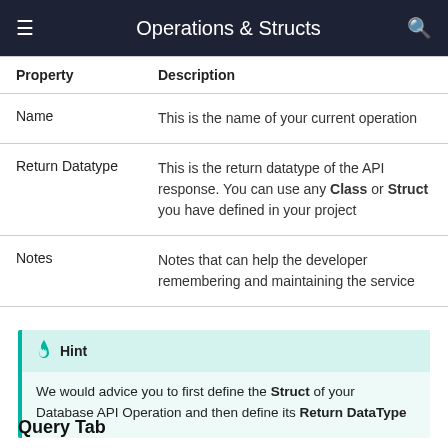Operations & Structs
| Property | Description |
| --- | --- |
| Name | This is the name of your current operation |
| Return Datatype | This is the return datatype of the API response. You can use any Class or Struct you have defined in your project |
| Notes | Notes that can help the developer remembering and maintaining the service |
Hint
We would advice you to first define the Struct of your Database API Operation and then define its Return DataType
Query Tab